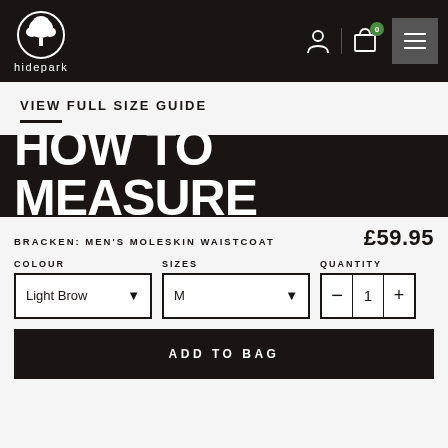hidepark
VIEW FULL SIZE GUIDE
HOW TO MEASURE
BRACKEN: MEN'S MOLESKIN WAISTCOAT £59.95
COLOUR: Light Brow  SIZES: M  QUANTITY: 1
ADD TO BAG